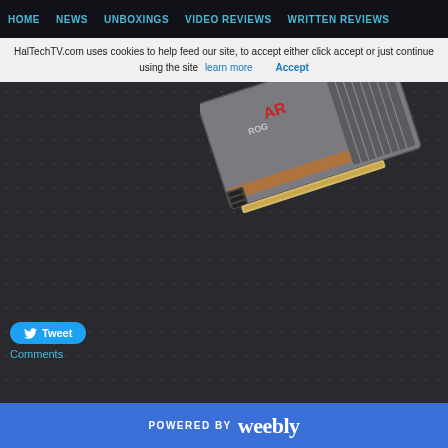HOME   NEWS   UNBOXINGS   VIDEO REVIEWS   WRITTEN REVIEWS
HalTechTV.com uses cookies to help feed our site, to accept either click accept or just continue using the site   learn more   Accept
[Figure (photo): ASUS ROG AREZ graphics card shown from above at an angle, gray metal backplate visible with ROG logo and AREZ branding, PCIe slot and connectors visible]
Tweet
Comments
POWERED BY weebly